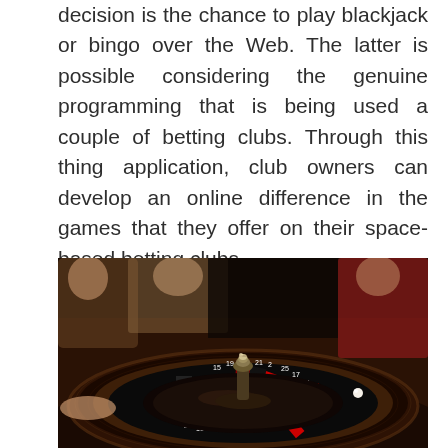decision is the chance to play blackjack or bingo over the Web. The latter is possible considering the genuine programming that is being used a couple of betting clubs. Through this thing application, club owners can develop an online difference in the games that they offer on their space-based betting clubs.
[Figure (photo): Close-up photograph of a casino roulette wheel on a wooden table, with blurred players and dealer visible in the background.]